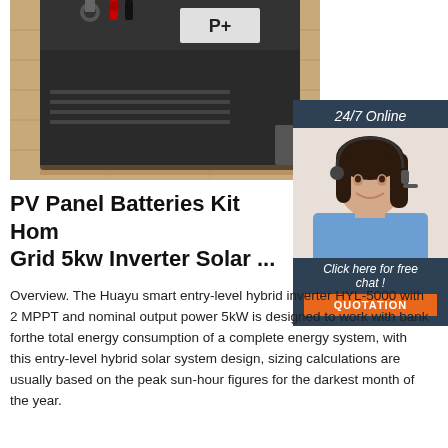[Figure (photo): Close-up photo of a dark metal battery/inverter unit labeled 'P+' on a wooden floor surface, with cable connectors on top]
[Figure (photo): 24/7 Online chat widget showing a smiling female customer service agent wearing a headset, with a 'Click here for free chat!' prompt and an orange QUOTATION button]
PV Panel Batteries Kit Hom Grid 5kw Inverter Solar ...
Overview. The Huayu smart entry-level hybrid inverter HYL-5000 with 2 MPPT and nominal output power 5kW is designed to work with bank forthe total energy consumption of a complete energy system, with this entry-level hybrid solar system design, sizing calculations are usually based on the peak sun-hour figures for the darkest month of the year.